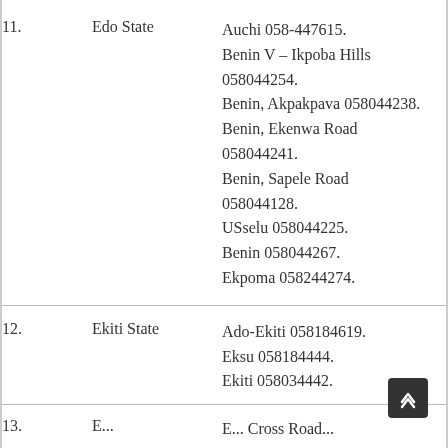11. Edo State — Auchi 058-447615. Benin V – Ikpoba Hills 058044254. Benin, Akpakpava 058044238. Benin, Ekenwa Road 058044241. Benin, Sapele Road 058044128. USselu 058044225. Benin 058044267. Ekpoma 058244274.
12. Ekiti State — Ado-Ekiti 058184619. Eksu 058184444. Ekiti 058034442.
13. E... E... Cross Road...